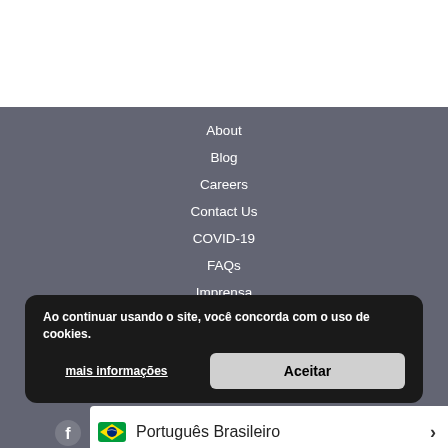About
Blog
Careers
Contact Us
COVID-19
FAQs
Imprensa
Comunicados à imprensa
Política de Privacidade
Show Schedule
Ao continuar usando o site, você concorda com o uso de cookies.
mais informações
Aceitar
Português Brasileiro